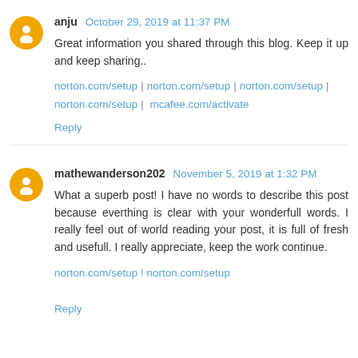anju  October 29, 2019 at 11:37 PM
Great information you shared through this blog. Keep it up and keep sharing..
norton.com/setup | norton.com/setup | norton.com/setup | norton.com/setup | mcafee.com/activate
Reply
mathewanderson202  November 5, 2019 at 1:32 PM
What a superb post! I have no words to describe this post because everthing is clear with your wonderfull words. I really feel out of world reading your post, it is full of fresh and usefull. I really appreciate, keep the work continue.
norton.com/setup ! norton.com/setup
Reply